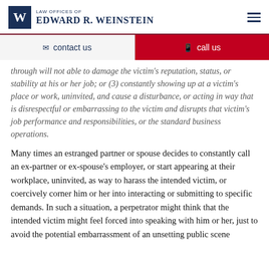LAW OFFICES OF EDWARD R. WEINSTEIN
contact us
call us
through will not able to damage the victim's reputation, status, or stability at his or her job; or (3) constantly showing up at a victim's place or work, uninvited, and cause a disturbance, or acting in way that is disrespectful or embarrassing to the victim and disrupts that victim's job performance and responsibilities, or the standard business operations.
Many times an estranged partner or spouse decides to constantly call an ex-partner or ex-spouse's employer, or start appearing at their workplace, uninvited, as way to harass the intended victim, or coercively corner him or her into interacting or submitting to specific demands. In such a situation, a perpetrator might think that the intended victim might feel forced into speaking with him or her, just to avoid the potential embarrassment of an unsetting public scene